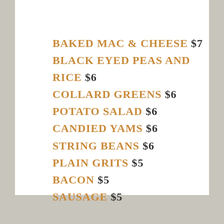BAKED MAC & CHEESE $7
BLACK EYED PEAS AND RICE $6
COLLARD GREENS $6
POTATO SALAD $6
CANDIED YAMS $6
STRING BEANS $6
PLAIN GRITS $5
BACON $5
SAUSAGE $5